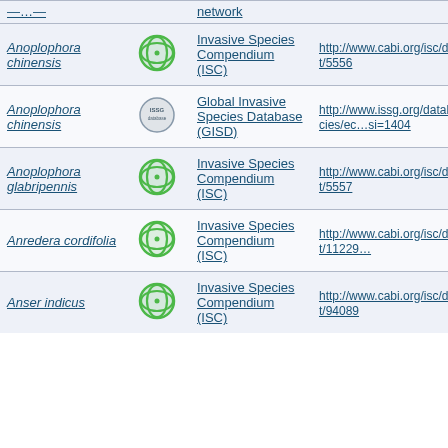| Species | Logo | Database | URL |
| --- | --- | --- | --- |
| Anoplophora chinensis | CABI | Invasive Species Compendium (ISC) | http://www.cabi.org/isc/datasheet/5556 |
| Anoplophora chinensis | ISSG | Global Invasive Species Database (GISD) | http://www.issg.org/database/species/ec...si=1404 |
| Anoplophora glabripennis | CABI | Invasive Species Compendium (ISC) | http://www.cabi.org/isc/datasheet/5557 |
| Anredera cordifolia | CABI | Invasive Species Compendium (ISC) | http://www.cabi.org/isc/datasheet/11229... |
| Anser indicus | CABI | Invasive Species Compendium (ISC) | http://www.cabi.org/isc/datasheet/94089 |